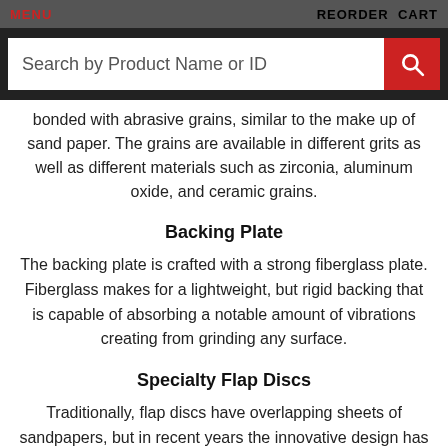MENU   REORDER CART
Search by Product Name or ID
bonded with abrasive grains, similar to the make up of sand paper. The grains are available in different grits as well as different materials such as zirconia, aluminum oxide, and ceramic grains.
Backing Plate
The backing plate is crafted with a strong fiberglass plate. Fiberglass makes for a lightweight, but rigid backing that is capable of absorbing a notable amount of vibrations creating from grinding any surface.
Specialty Flap Discs
Traditionally, flap discs have overlapping sheets of sandpapers, but in recent years the innovative design has been used to create new products by incorporating materials such as Australian wool for polishing, and nylon